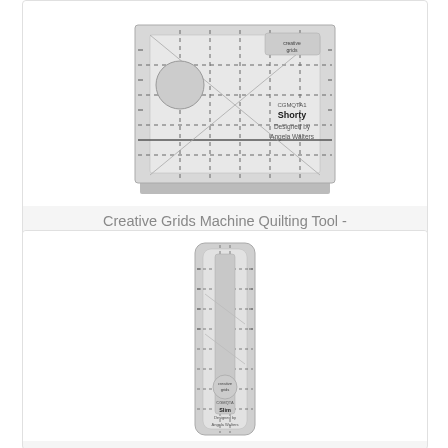[Figure (photo): Creative Grids Machine Quilting Tool - Shorty ruler, shown as a wide rectangular transparent ruler with dashed grid lines, a circular hole, and label reading 'Shorty Designed by Angela Walters']
Creative Grids Machine Quilting Tool - Shorty
$21.99
[Figure (photo): Creative Grids Machine Quilting Tool - Slim ruler, shown as a tall narrow transparent ruler with dashed grid lines and label reading 'Slim Designed by Angela Walters']